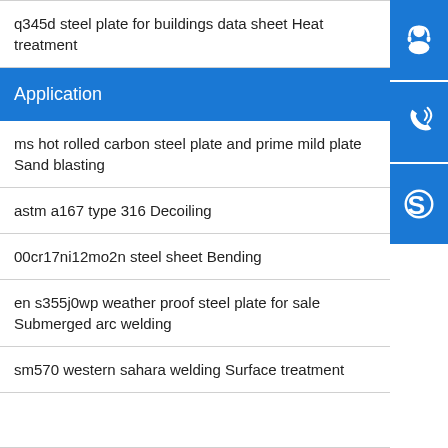q345d steel plate for buildings data sheet Heat treatment
Application
ms hot rolled carbon steel plate and prime mild plate Sand blasting
astm a167 type 316 Decoiling
00cr17ni12mo2n steel sheet Bending
en s355j0wp weather proof steel plate for sale Submerged arc welding
sm570 western sahara welding Surface treatment
[Figure (infographic): Three blue icon buttons on the right side: customer service (headset/person icon), phone contact (phone with signal icon), and Skype (Skype logo icon)]